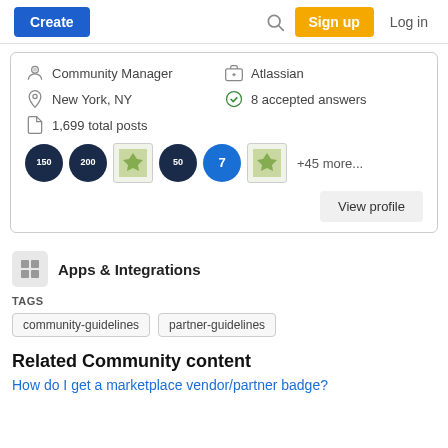Create | Search | Sign up | Log in
Community Manager | Atlassian | New York, NY | 8 accepted answers | 1,699 total posts
[Figure (other): Row of achievement badges: dark circle with 150, dark circle with 200, image badge, dark circle with 50, blue circle with 7, image badge, +45 more...]
View profile
Apps & Integrations
TAGS
community-guidelines   partner-guidelines
Related Community content
How do I get a marketplace vendor/partner badge?